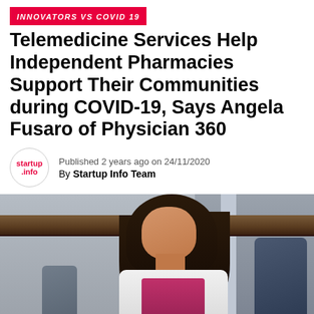INNOVATORS VS COVID 19
Telemedicine Services Help Independent Pharmacies Support Their Communities during COVID-19, Says Angela Fusaro of Physician 360
Published 2 years ago on 24/11/2020
By Startup Info Team
[Figure (photo): A woman with long dark hair wearing a white coat and pink/magenta top, seated and looking upward, in a professional office or medical setting with dark chairs and shelving in the background.]